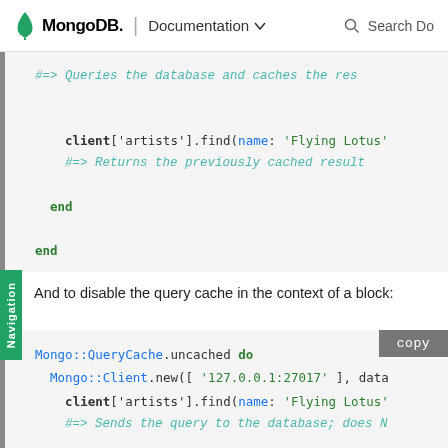MongoDB | Documentation
[Figure (screenshot): Code block showing Ruby MongoDB query cache example with 'end' keywords and a comment '#=> Queries the database and caches the result', client find call, and '#=> Returns the previously cached result']
And to disable the query cache in the context of a block:
[Figure (screenshot): Code block showing Mongo::QueryCache.uncached do block with Mongo::Client.new, client find calls, and '#=> Sends the query to the database; does N...' comment]